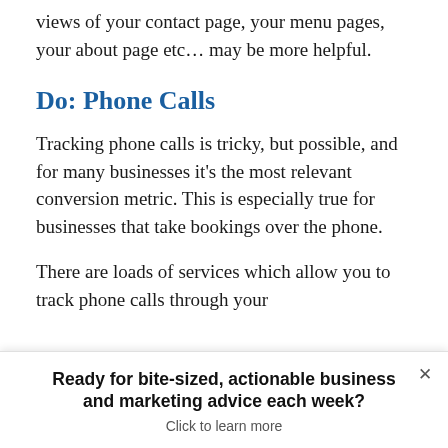views of your contact page, your menu pages, your about page etc... may be more helpful.
Do: Phone Calls
Tracking phone calls is tricky, but possible, and for many businesses it’s the most relevant conversion metric. This is especially true for businesses that take bookings over the phone.
There are loads of services which allow you to track phone calls through your
Ready for bite-sized, actionable business and marketing advice each week?
Click to learn more